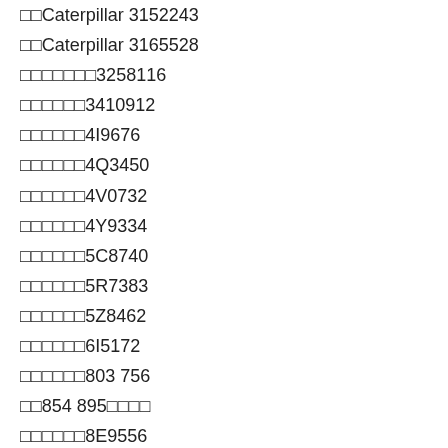□□Caterpillar 3152243
□□Caterpillar 3165528
□□□□□□□3258116
□□□□□□3410912
□□□□□□4I9676
□□□□□□4Q3450
□□□□□□4V0732
□□□□□□4Y9334
□□□□□□5C8740
□□□□□□5R7383
□□□□□□5Z8462
□□□□□□6I5172
□□□□□□803 756
□□854 895□□□□
□□□□□□8E9556
□□□□□□8G3983
□□□□□□9V6892
□□□□□941- 817
□FG Wilson 952-844